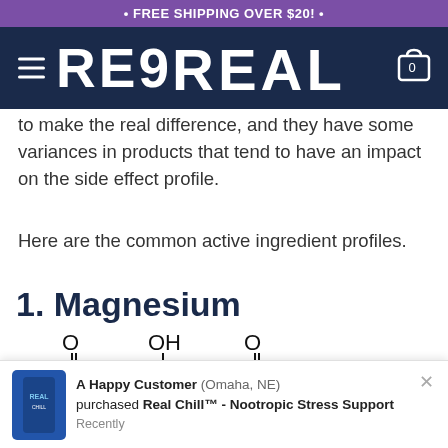• FREE SHIPPING OVER $20! •
[Figure (logo): REAL brand logo on dark navy navigation bar with hamburger menu on left and cart icon on right]
to make the real difference, and they have some variances in products that tend to have an impact on the side effect profile.
Here are the common active ingredient profiles.
1. Magnesium
[Figure (illustration): Chemical structure diagram of magnesium compound showing O, OH, O groups with carbon chain and O- groups on each end]
Magnesium has
[Figure (infographic): Toast notification: A Happy Customer (Omaha, NE) purchased Real Chill™ - Nootropic Stress Support. Recently.]
nxiety and